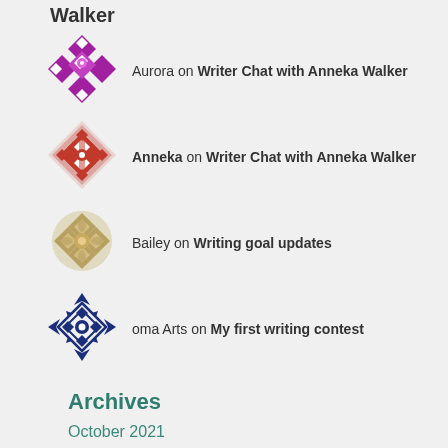Aurora on Writer Chat with Anneka Walker
Anneka on Writer Chat with Anneka Walker
Bailey on Writing goal updates
oma Arts on My first writing contest
Archives
October 2021
February 2020
September 2019
August 2019